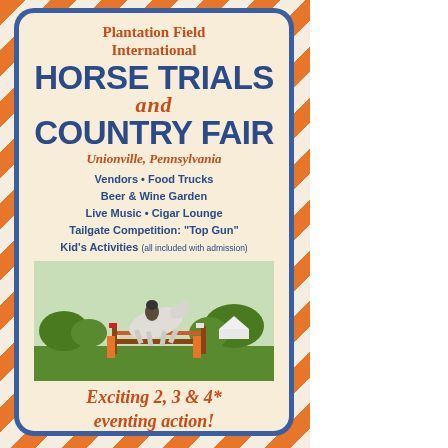Plantation Field International Horse Trials and Country Fair
Unionville, Pennsylvania
Vendors • Food Trucks
Beer & Wine Garden
Live Music • Cigar Lounge
Tailgate Competition: "Top Gun"
Kid's Activities (all included with admission)
[Figure (photo): Equestrian rider on a white/grey horse jumping over a fence obstacle at an outdoor horse trial event]
Exciting 2, 3 & 4* eventing action!